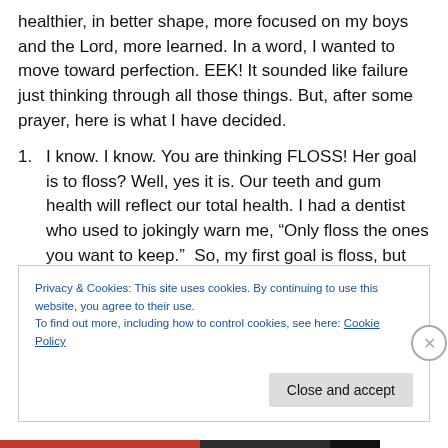healthier, in better shape, more focused on my boys and the Lord, more learned. In a word, I wanted to move toward perfection. EEK! It sounded like failure just thinking through all those things. But, after some prayer, here is what I have decided.
I know. I know. You are thinking FLOSS! Her goal is to floss? Well, yes it is. Our teeth and gum health will reflect our total health. I had a dentist who used to jokingly warn me, “Only floss the ones you want to keep.”  So, my first goal is floss, but notice that I did
Privacy & Cookies: This site uses cookies. By continuing to use this website, you agree to their use.
To find out more, including how to control cookies, see here: Cookie Policy